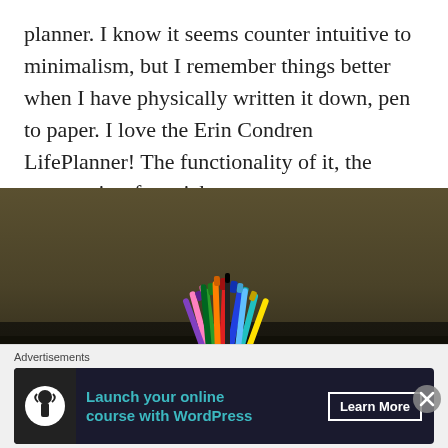planner. I know it seems counter intuitive to minimalism, but I remember things better when I have physically written it down, pen to paper. I love the Erin Condren LifePlanner! The functionality of it, the accessories, fun stickers, etc.
[Figure (photo): A white mug filled with colorful pens and markers sitting on a dark desk surface against a dark olive/brown wall background. A partial view of a book or device is visible at the right edge.]
Advertisements
[Figure (screenshot): Advertisement banner: dark background with a tree/person icon on the left, teal text reading 'Launch your online course with WordPress', and a 'Learn More' button on the right.]